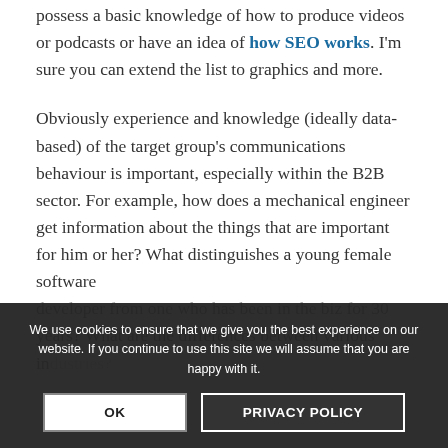possess a basic knowledge of how to produce videos or podcasts or have an idea of how SEO works. I'm sure you can extend the list to graphics and more.
Obviously experience and knowledge (ideally data-based) of the target group's communications behaviour is important, especially within the B2B sector. For example, how does a mechanical engineer get information about the things that are important for him or her? What distinguishes a young female software developer from one who has been in the biz for 30 years? What are the differences between various in...
We use cookies to ensure that we give you the best experience on our website. If you continue to use this site we will assume that you are happy with it.